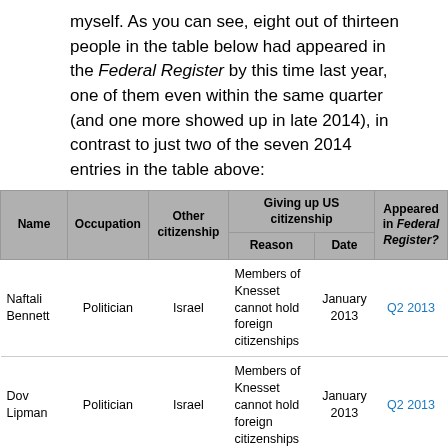myself. As you can see, eight out of thirteen people in the table below had appeared in the Federal Register by this time last year, one of them even within the same quarter (and one more showed up in late 2014), in contrast to just two of the seven 2014 entries in the table above:
| Name | Occupation | Other citizenship | Reason | Date | Appeared in Federal Register? |
| --- | --- | --- | --- | --- | --- |
| Naftali Bennett | Politician | Israel | Members of Knesset cannot hold foreign citizenships | January 2013 | Q2 2013 |
| Dov Lipman | Politician | Israel | Members of Knesset cannot hold foreign citizenships | January 2013 | Q2 2013 |
| Orlan Calayag | Bureaucrat | Philippines | Become head of National Food Authority | January 2013 | Q2 2013 |
| Mahmud Karzai | Politician | Afghanistan | Launch political career in Afghanistan | January 2013 | Q1 2013 |